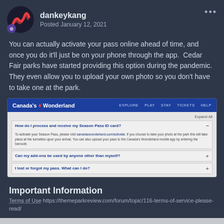dankeykang — Posted January 12, 2021
You can actually activate your pass online ahead of time, and once you do it'll just be on your phone through the app.  Cedar Fair parks have started providing this option during the pandemic.  They even allow you to upload your own photo so you don't have to take one at the park.
[Figure (screenshot): Canada's Wonderland website FAQ page showing Season Pass ID card activation instructions and collapsible FAQ sections.]
Important Information
Terms of Use https://themeparkreview.com/forum/topic/116-terms-of-service-please-read/
✓  I accept